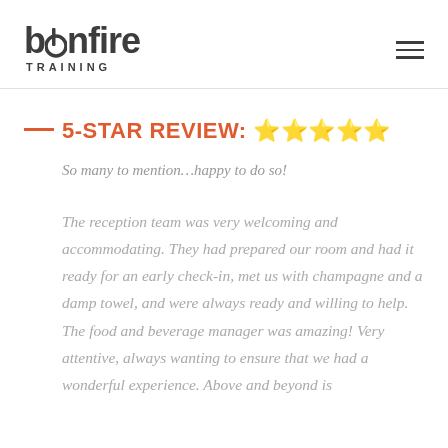bonfire TRAINING
5-STAR REVIEW: ★★★★★
So many to mention…happy to do so!
The reception team was very welcoming and accommodating. They had prepared our room and had it ready for an early check-in, met us with champagne and a damp towel, and were always ready and willing to help. The food and beverage manager was amazing! Very attentive, always wanting to ensure that we had a wonderful experience. Above and beyond is